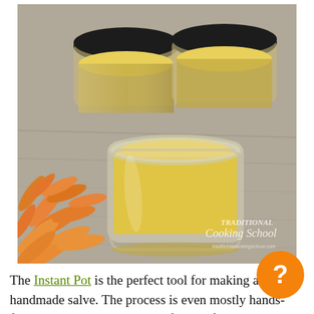[Figure (photo): Several glass and black-lidded jars filled with yellow homemade salve/balm, surrounded by orange calendula flower petals on a wooden surface. Watermark reads 'Traditional Cooking School'.]
The Instant Pot is the perfect tool for making a handmade salve. The process is even mostly hands-free — giving you more time for all of your...